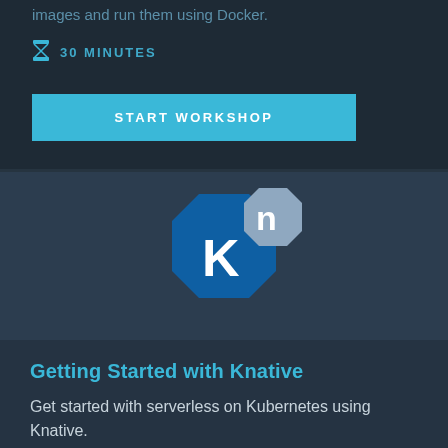images and run them using Docker.
30 MINUTES
START WORKSHOP
[Figure (logo): Knative logo: blue octagon with white letter K, overlapping grey octagon with letter n]
Getting Started with Knative
Get started with serverless on Kubernetes using Knative.